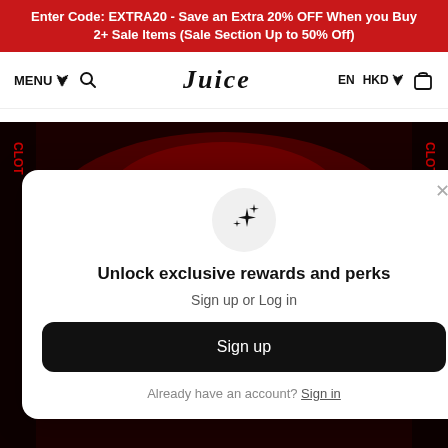Enter Code: EXTRA20 - Save an Extra 20% OFF When you Buy 2+ Sale Items (Sale Section Up to 50% Off)
[Figure (screenshot): Navigation bar with MENU, search icon, Juice store logo in center, EN HKD language/currency selector, and shopping bag icon on the right]
[Figure (photo): Dark red gaming-themed background image with Cross Fire game logos and branding. CLOT text visible on left and right edges.]
[Figure (screenshot): Sign up/Log in modal popup overlay on the page. Contains a sparkle icon in a gray circle, title 'Unlock exclusive rewards and perks', subtitle 'Sign up or Log in', a black 'Sign up' button, and a link 'Already have an account? Sign in'. An X close button in the top right.]
Unlock exclusive rewards and perks
Sign up or Log in
Sign up
Already have an account? Sign in